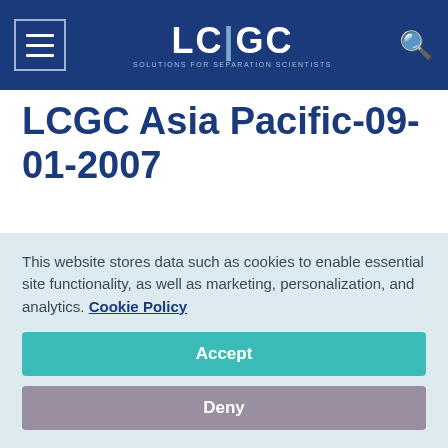LC|GC SOLUTIONS FOR SEPARATION SCIENTISTS
LCGC Asia Pacific-09-01-2007
home / ... / lcgc-asia-pacific / lcgc-asia-pacific-09-01-2007
LCGC Asia Pacific
This website stores data such as cookies to enable essential site functionality, as well as marketing, personalization, and analytics. Cookie Policy
Accept
Deny